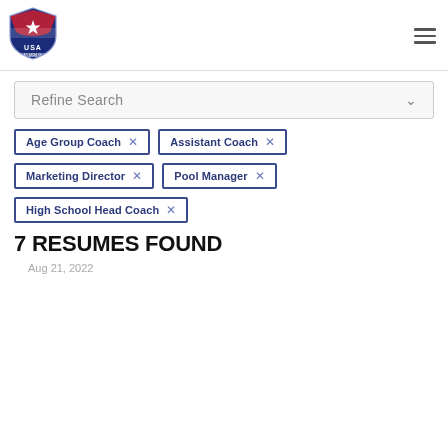[Figure (logo): USA Swimming shield logo with red, white, blue colors and a star]
Refine Search
Age Group Coach ×
Assistant Coach ×
Marketing Director ×
Pool Manager ×
High School Head Coach ×
7 RESUMES FOUND
Aug 21, 2022